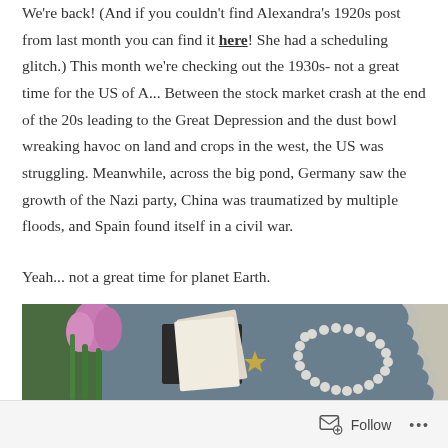We're back! (And if you couldn't find Alexandra's 1920s post from last month you can find it here! She had a scheduling glitch.) This month we're checking out the 1930s- not a great time for the US of A... Between the stock market crash at the end of the 20s leading to the Great Depression and the dust bowl wreaking havoc on land and crops in the west, the US was struggling. Meanwhile, across the big pond, Germany saw the growth of the Nazi party, China was traumatized by multiple floods, and Spain found itself in a civil war.
Yeah... not a great time for planet Earth.
[Figure (photo): Flat lay photo on a blue-grey background featuring a pink tulip with green stems, a pearl necklace, a gold star decoration, and some paper or card items.]